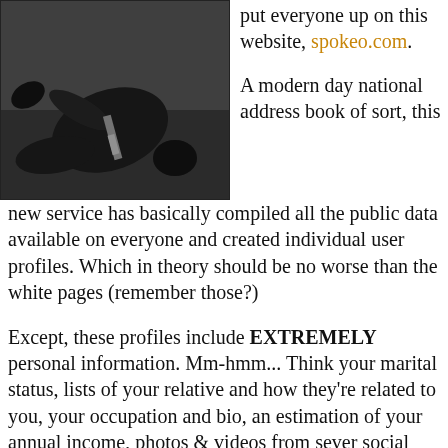[Figure (photo): Black and white photograph of a person lying on the floor of what appears to be a car trunk or vehicle interior, wearing a suit with a tie visible.]
put everyone up on this website, spokeo.com.
A modern day national address book of sort, this new service has basically compiled all the public data available on everyone and created individual user profiles. Which in theory should be no worse than the white pages (remember those?)
Except, these profiles include EXTREMELY personal information. Mm-hmm... Think your marital status, lists of your relative and how they're related to you, your occupation and bio, an estimation of your annual income, photos & videos from sever social networking site you've belonged